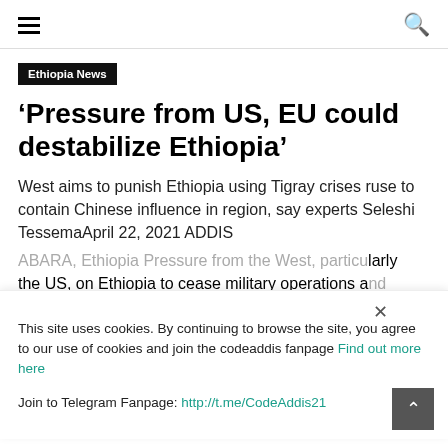≡  🔍
Ethiopia News
'Pressure from US, EU could destabilize Ethiopia'
West aims to punish Ethiopia using Tigray crises ruse to contain Chinese influence in region, say experts Seleshi TessemaApril 22, 2021 ADDIS
ABARA, Ethiopia Pressure from the West, particularly the US, on Ethiopia to cease military operations and to negotiate a deal with the Tigray People's Liberation Front (TPLF) could prove counterproductive and destabilize the country,
This site uses cookies. By continuing to browse the site, you agree to our use of cookies and join the codeaddis fanpage Find out more here
Join to Telegram Fanpage: http://t.me/CodeAddis21